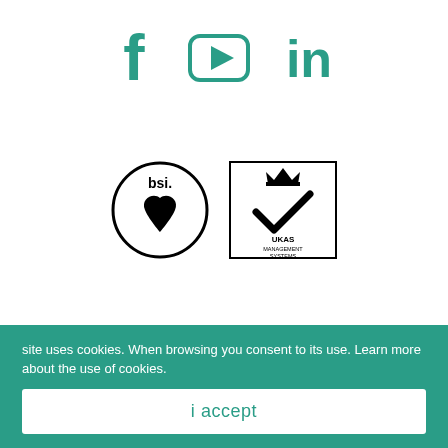[Figure (logo): Social media icons: Facebook (f), YouTube (play button triangle in rounded rectangle), LinkedIn (in) — all in teal/green color]
[Figure (logo): BSI certification logo (circular logo with diamond/heart shape and 'bsi.' text) alongside UKAS Management Systems logo (square with crown and checkmark, text 'UKAS MANAGEMENT SYSTEMS 0003')]
CONTACTS
Head Office
Dispute Resolution
site uses cookies. When browsing you consent to its use. Learn more about the use of cookies.
i accept